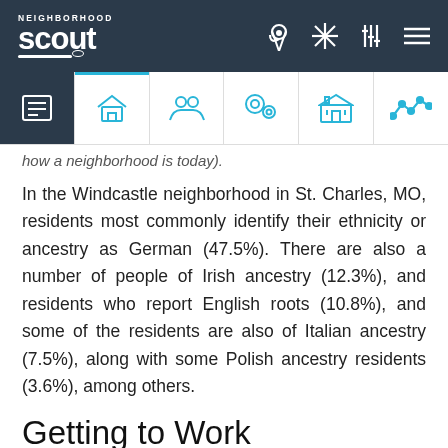Neighborhood Scout - navigation bar with logo and icons
[Figure (screenshot): Tab navigation bar with icons: overview (active, dark background), home, people, crime/location, school/building, trend line]
how a neighborhood is today).
In the Windcastle neighborhood in St. Charles, MO, residents most commonly identify their ethnicity or ancestry as German (47.5%). There are also a number of people of Irish ancestry (12.3%), and residents who report English roots (10.8%), and some of the residents are also of Italian ancestry (7.5%), along with some Polish ancestry residents (3.6%), among others.
Getting to Work